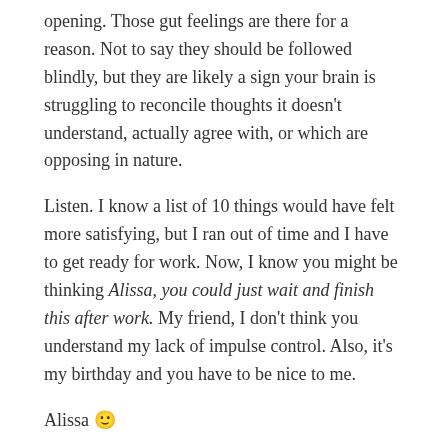opening. Those gut feelings are there for a reason. Not to say they should be followed blindly, but they are likely a sign your brain is struggling to reconcile thoughts it doesn't understand, actually agree with, or which are opposing in nature.
Listen. I know a list of 10 things would have felt more satisfying, but I ran out of time and I have to get ready for work. Now, I know you might be thinking Alissa, you could just wait and finish this after work. My friend, I don't think you understand my lack of impulse control. Also, it's my birthday and you have to be nice to me.
Alissa 🙂
COMMENT -> What's an important lesson you've learned this year?